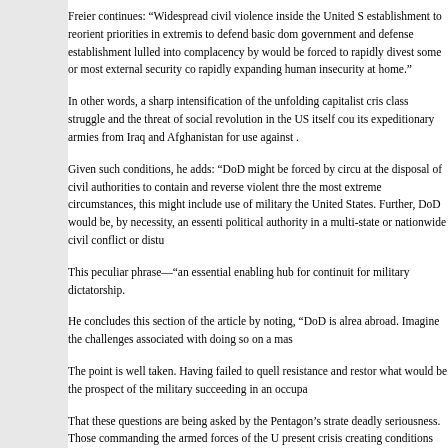Freier continues: “Widespread civil violence inside the United S establishment to reorient priorities in extremis to defend basic dom government and defense establishment lulled into complacency by would be forced to rapidly divest some or most external security co rapidly expanding human insecurity at home.”
In other words, a sharp intensification of the unfolding capitalist cris class struggle and the threat of social revolution in the US itself cou its expeditionary armies from Iraq and Afghanistan for use against .
Given such conditions, he adds: “DoD might be forced by circu at the disposal of civil authorities to contain and reverse violent thre the most extreme circumstances, this might include use of military the United States. Further, DoD would be, by necessity, an essenti political authority in a multi-state or nationwide civil conflict or distu
This peculiar phrase—“an essential enabling hub for continuit for military dictatorship.
He concludes this section of the article by noting, “DoD is alrea abroad. Imagine the challenges associated with doing so on a mas
The point is well taken. Having failed to quell resistance and restor what would be the prospect of the military succeeding in an occupa
That these questions are being asked by the Pentagon’s strate deadly seriousness. Those commanding the armed forces of the U present crisis creating conditions for revolution and are preparing a